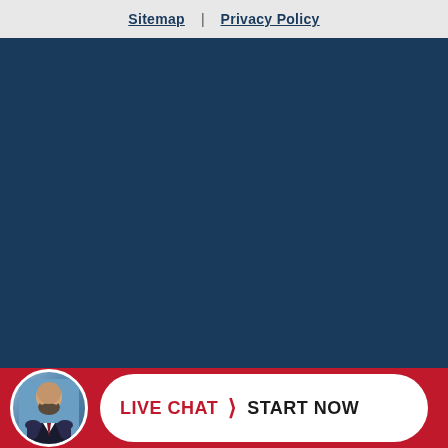Sitemap | Privacy Policy
[Figure (photo): Large dark navy blue background section filling the majority of the page]
[Figure (infographic): Red bottom bar with circular avatar photo of a bald bearded man in a suit, and a white pill-shaped button reading LIVE CHAT > START NOW]